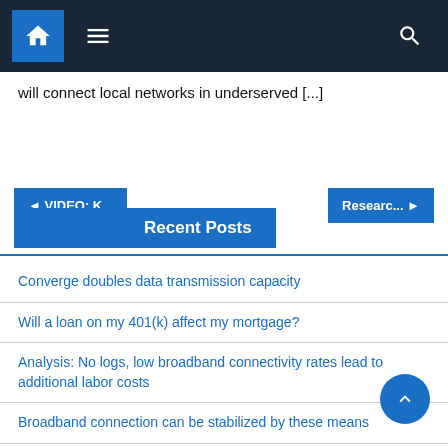Navigation bar with home, menu, and search icons
will connect local networks in underserved [...]
◀ VIDEO: K...    Researc... ▶
Recent Posts
Converge doubles data transmission capacity
Will a loan on my 401(k) affect my mortgage?
Analysis: No logs, low broadband connectivity rates lead to additional labor costs
Broadband connection can be stabilized by these means
Top 10 African Countries With Fastest Internet Speed
Satellite Broadband Ensures Business Continuity in the Event of a Natural Disaster